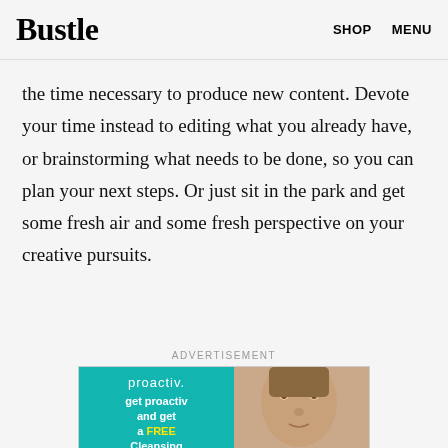Bustle  SHOP  MENU
project. Find a coffee shop and fuel up. Since you're only tackling with an hour or less, you might not have the time necessary to produce new content. Devote your time instead to editing what you already have, or brainstorming what needs to be done, so you can plan your next steps. Or just sit in the park and get some fresh air and some fresh perspective on your creative pursuits.
ADVERTISEMENT
[Figure (photo): Proactiv advertisement showing 'get proactiv and get a FREE Cleansing' text on teal background with a woman's face on the right side]